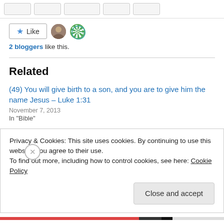[Figure (screenshot): Top navigation bar with social sharing icon buttons (partially cropped)]
[Figure (screenshot): Like button with star icon, and two blogger avatar thumbnails]
2 bloggers like this.
Related
(49) You will give birth to a son, and you are to give him the name Jesus – Luke 1:31
November 7, 2013
In "Bible"
(61) Why do you look for the living among the dead? He is not here; he has risen! – Luke 24:5-6
Privacy & Cookies: This site uses cookies. By continuing to use this website, you agree to their use.
To find out more, including how to control cookies, see here: Cookie Policy
Close and accept